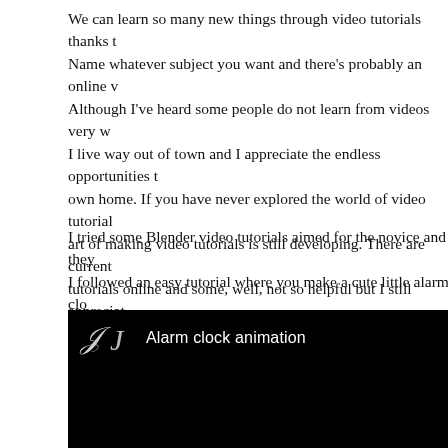We can learn so many new things through video tutorials thanks to Name whatever subject you want and there's probably an online v Although I've heard some people do not learn from videos very w I live way out of town and I appreciate the endless opportunities t own home. If you have never explored the world of video tutorial art of making video tutorials is still developing. There are current tutorials online and some, well, not so helpful but I still appreciat knowledge.
I tried some Blender video tutorials aimed for the novice and they I followed an easy tutorial where you make a cute little alarm clo hands rotate around. The tutorial was easy to follow and I was ple there is no sound in this video.)
[Figure (screenshot): A dark/black video thumbnail or player showing a cursive letter J icon and the title 'Alarm clock animation' in white text on a black background.]